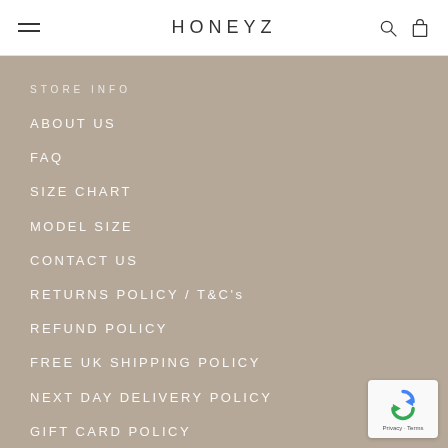HONEYZ
STORE INFO
ABOUT US
FAQ
SIZE CHART
MODEL SIZE
CONTACT US
RETURNS POLICY / T&C's
REFUND POLICY
FREE UK SHIPPING POLICY
NEXT DAY DELIVERY POLICY
GIFT CARD POLICY